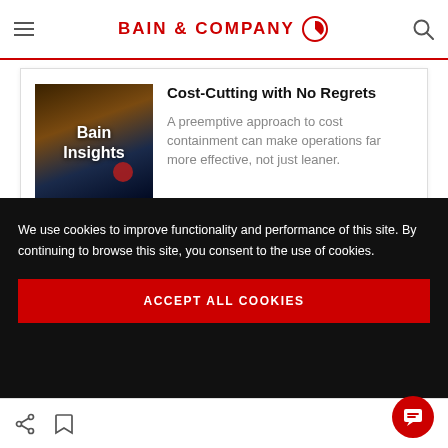BAIN & COMPANY
Cost-Cutting with No Regrets
A preemptive approach to cost containment can make operations far more effective, not just leaner.
We use cookies to improve functionality and performance of this site. By continuing to browse this site, you consent to the use of cookies.
ACCEPT ALL COOKIES